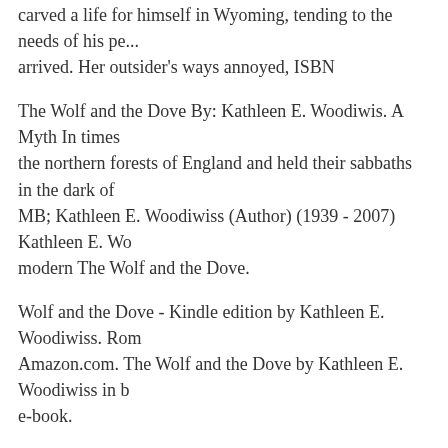carved a life for himself in Wyoming, tending to the needs of his pe... arrived. Her outsider's ways annoyed, ISBN
The Wolf and the Dove By: Kathleen E. Woodiwis. A Myth In times the northern forests of England and held their sabbaths in the dark of MB; Kathleen E. Woodiwiss (Author) (1939 - 2007) Kathleen E. Wo modern The Wolf and the Dove.
Wolf and the Dove - Kindle edition by Kathleen E. Woodiwiss. Rom Amazon.com. The Wolf and the Dove by Kathleen E. Woodiwiss in b e-book.
The Wolf and the Dove (Fortune's Children) by Turner, Linda and a g Used, New and Collectible Books available now at AbeBooks.com. T Preview remove-circle Share or Embed This Item. Borrow this book files. IN COLLECTIONS. Books to Borrow.
The Wolf and the Dove. Kathleen E. Woodiwiss The.Wolf.and.the.Do 0380007789,9780380007783 512 pages 13 Mb Download The Wolf 28/07/2016 · Let's Enjoy Reads Now http://goodreadslist.playst...